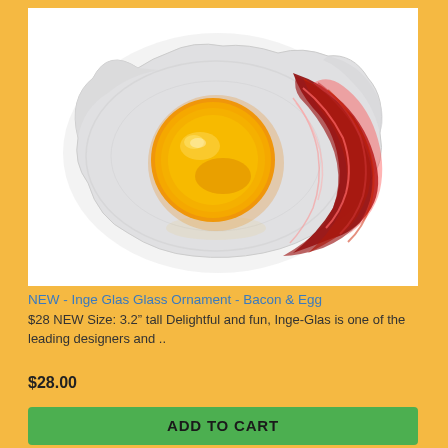[Figure (photo): Glass ornament shaped like a fried egg with bacon. The ornament has a white egg white area with a bright orange-yellow yolk in the center, and red/dark swirled glass resembling bacon strips on the right side.]
NEW - Inge Glas Glass Ornament - Bacon & Egg
$28 NEW Size: 3.2" tall Delightful and fun, Inge-Glas is one of the leading designers and ..
$28.00
ADD TO CART